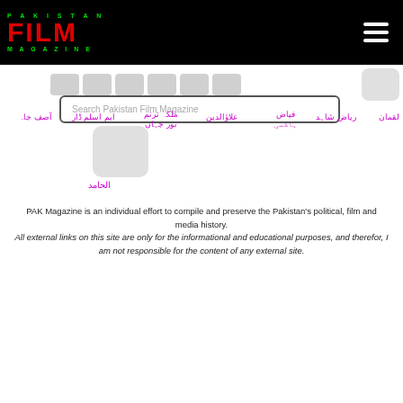[Figure (logo): Pakistan Film Magazine logo: green text PAKISTAN, large red text FILM, green text MAGAZINE on black background]
Search Pakistan Film Magazine
لقمان
ریاض شاہد
فیاض ہاشمی
علاؤالدین
ملکہ ترنم نور جہاں
ایم اسلم ڈار
آصف جاہ
الحامد
PAK Magazine is an individual effort to compile and preserve the Pakistan's political, film and media history.
All external links on this site are only for the informational and educational purposes, and therefor, I am not responsible for the content of any external site.